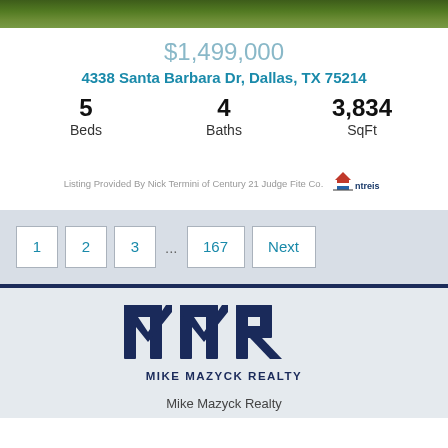[Figure (photo): Exterior photo of house, showing grass/lawn area at top]
$1,499,000
4338 Santa Barbara Dr, Dallas, TX 75214
5 Beds  4 Baths  3,834 SqFt
Listing Provided By Nick Termini of Century 21 Judge Fite Co.
[Figure (logo): NTREIS logo - house icon with red, white, blue stripes and ntreis text]
1  2  3  ...  167  Next
[Figure (logo): MMR Mike Mazyck Realty logo - dark navy block letters MMR above MIKE MAZYCK REALTY text]
Mike Mazyck Realty